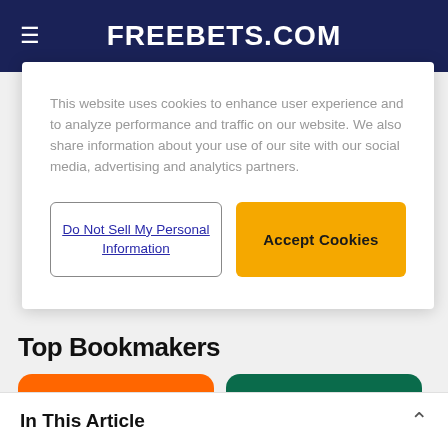FREEBETS.COM
This website uses cookies to enhance user experience and to analyze performance and traffic on our website. We also share information about your use of our site with our social media, advertising and analytics partners.
Do Not Sell My Personal Information
Accept Cookies
Top Bookmakers
[Figure (logo): 888 bookmaker card with orange background and white 888 logo]
[Figure (logo): Bet bookmaker card with dark green background, white 'be' text and yellow '36' text]
In This Article